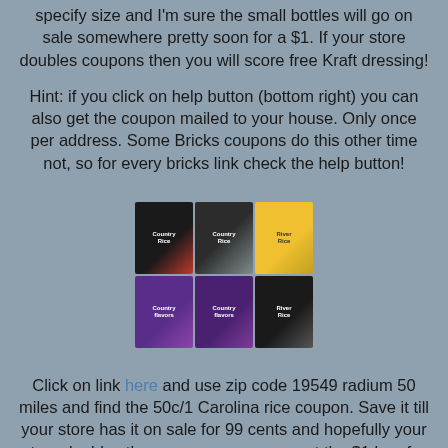specify size and I'm sure the small bottles will go on sale somewhere pretty soon for a $1.  If your store doubles coupons then you will score free Kraft dressing!
Hint: if you click on help button (bottom right) you can also get the coupon mailed to your house.  Only once per address.  Some Bricks coupons do this other time not, so for every bricks link check the help button!
[Figure (photo): Six rice product packages arranged in a 3x2 grid: top row has two Country-branded rice bags and one River-branded yellow bag; bottom row has two Country-branded purple bags and one River-branded dark bag.]
Click on link here and use zip code 19549 radium 50 miles and find the 50c/1 Carolina rice coupon.  Save it till your store has it on sale for 99 cents and hopefully your store doubles the coupon so you can get the $1 bag for free.